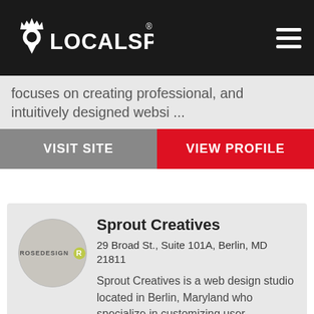[Figure (logo): LocalSpark logo with location pin icon and text on dark background, plus hamburger menu icon]
focuses on creating professional, and intuitively designed websi ...
VISIT SITE
VIEW PROFILE
[Figure (logo): Sprout Creatives / ROSEDESIGN circular logo placeholder]
Sprout Creatives
29 Broad St., Suite 101A, Berlin, MD 21811
Sprout Creatives is a web design studio located in Berlin, Maryland who specialize in customizing user experiences that dramatically influence the way your brand is perceived and c ...